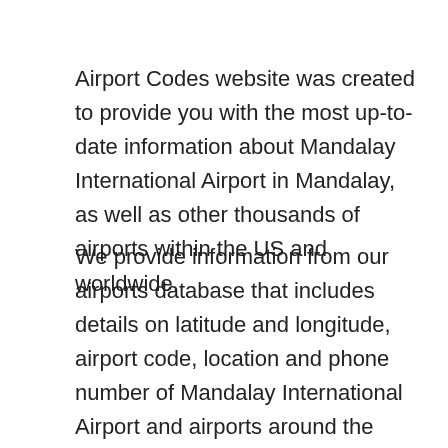Airport Codes website was created to provide you with the most up-to-date information about Mandalay International Airport in Mandalay, as well as other thousands of airports within the US and worldwide.
We provide information from our airports database that includes details on latitude and longitude, airport code, location and phone number of Mandalay International Airport and airports around the world.